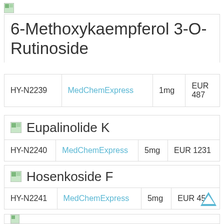[Figure (photo): Small thumbnail image placeholder for 6-Methoxykaempferol 3-O-Rutinoside]
6-Methoxykaempferol 3-O-Rutinoside
| HY-N2239 | MedChemExpress | 1mg | EUR 487 |
| --- | --- | --- | --- |
[Figure (photo): Small thumbnail image placeholder for Eupalinolide K]
Eupalinolide K
| HY-N2240 | MedChemExpress | 5mg | EUR 1231 |
| --- | --- | --- | --- |
[Figure (photo): Small thumbnail image placeholder for Hosenkoside F]
Hosenkoside F
| HY-N2241 | MedChemExpress | 5mg | EUR 452 |
| --- | --- | --- | --- |
[Figure (photo): Partial thumbnail for fourth product (cut off)]